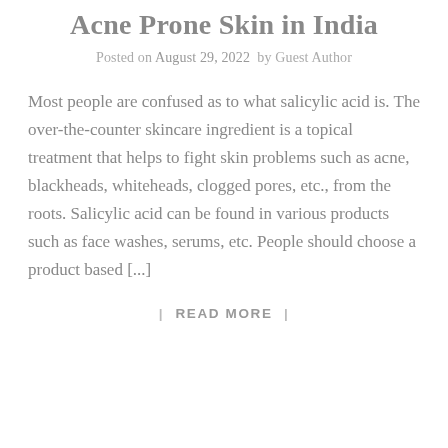Acne Prone Skin in India
Posted on August 29, 2022  by Guest Author
Most people are confused as to what salicylic acid is. The over-the-counter skincare ingredient is a topical treatment that helps to fight skin problems such as acne, blackheads, whiteheads, clogged pores, etc., from the roots. Salicylic acid can be found in various products such as face washes, serums, etc. People should choose a product based [...]
| READ MORE |